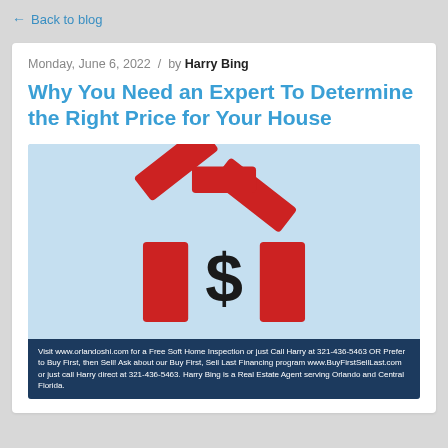← Back to blog
Monday, June 6, 2022  /  by Harry Bing
Why You Need an Expert To Determine the Right Price for Your House
[Figure (photo): Red rectangular blocks arranged in the shape of a house with a dollar sign in the middle, on a light blue background. A dark navy banner at the bottom contains white text with contact information for Harry Bing, real estate agent.]
Visit www.orlandoshi.com for a Free Soft Home Inspection or just Call Harry at 321-436-5463 OR Prefer to Buy First, then Sell! Ask about our Buy First, Sell Last Financing program www.BuyFirstSellLast.com or just call Harry direct at 321-436-5463. Harry Bing is a Real Estate Agent serving Orlando and Central Florida.